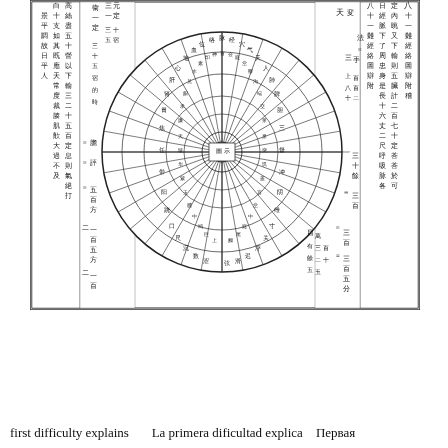[Figure (schematic): A traditional Chinese astronomical or medical diagram showing a circular wheel chart (likely acupuncture meridian or calendar wheel) with radiating segments filled with Chinese characters. Surrounding the circle are vertical columns of classical Chinese text with annotations and numerical notations.]
first difficulty explains     La primera dificultad explica    Первая